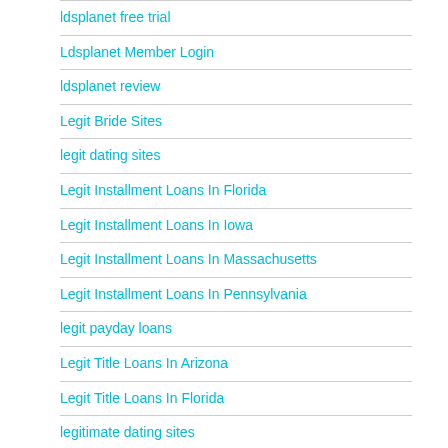ldsplanet free trial
Ldsplanet Member Login
ldsplanet review
Legit Bride Sites
legit dating sites
Legit Installment Loans In Florida
Legit Installment Loans In Iowa
Legit Installment Loans In Massachusetts
Legit Installment Loans In Pennsylvania
legit payday loans
Legit Title Loans In Arizona
Legit Title Loans In Florida
legitimate dating sites